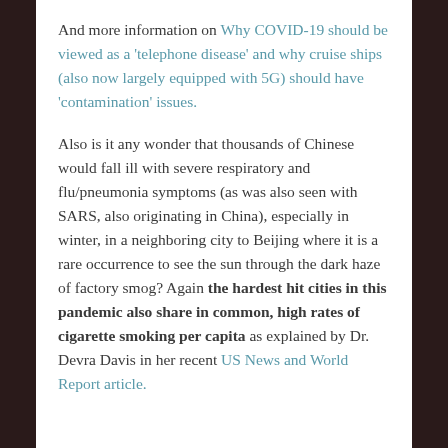And more information on Why COVID-19 should be viewed as a 'telephone disease' and why cruise ships (also now largely equipped with 5G) should have 'contamination' issues.
Also is it any wonder that thousands of Chinese would fall ill with severe respiratory and flu/pneumonia symptoms (as was also seen with SARS, also originating in China), especially in winter, in a neighboring city to Beijing where it is a rare occurrence to see the sun through the dark haze of factory smog? Again the hardest hit cities in this pandemic also share in common, high rates of cigarette smoking per capita as explained by Dr. Devra Davis in her recent US News and World Report article.